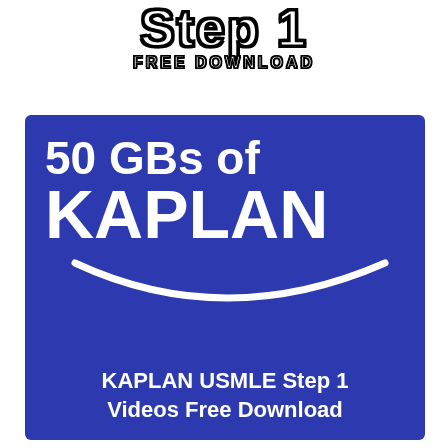STEP 1 FREE DOWNLOAD
[Figure (logo): Blue rectangle with Kaplan logo styling. Text reads '50 GBs of KAPLAN' with white curved smile arc beneath, and bottom text 'KAPLAN USMLE Step 1 Videos Free Download']